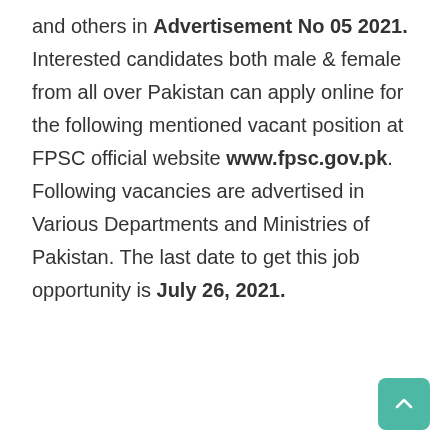and others in Advertisement No 05 2021. Interested candidates both male & female from all over Pakistan can apply online for the following mentioned vacant position at FPSC official website www.fpsc.gov.pk. Following vacancies are advertised in Various Departments and Ministries of Pakistan. The last date to get this job opportunity is July 26, 2021.